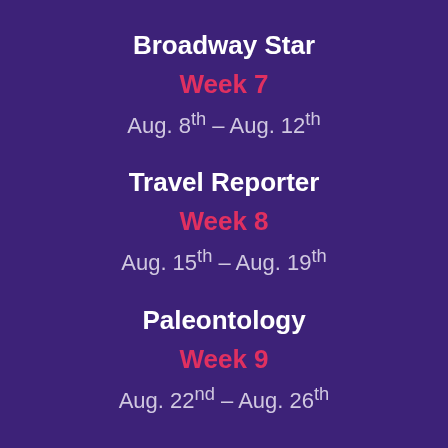Broadway Star
Week 7
Aug. 8th – Aug. 12th
Travel Reporter
Week 8
Aug. 15th – Aug. 19th
Paleontology
Week 9
Aug. 22nd – Aug. 26th